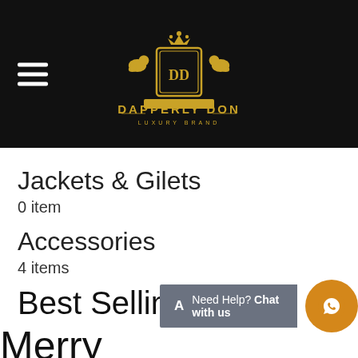Dapperly Don Luxury Brand - navigation header with logo and hamburger menu
Jackets & Gilets
0 item
Accessories
4 items
Best Selling
Need Help? Chat with us
Merry